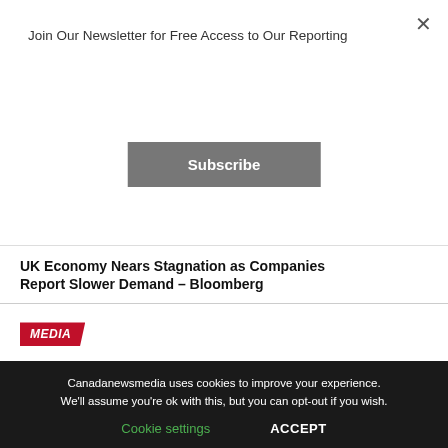Join Our Newsletter for Free Access to Our Reporting
Subscribe
UK Economy Nears Stagnation as Companies Report Slower Demand – Bloomberg
MEDIA
Stelter says CNN must hold media accountable as show ends – CityNews Toronto
Canadanewsmedia uses cookies to improve your experience. We'll assume you're ok with this, but you can opt-out if you wish.
Cookie settings
ACCEPT